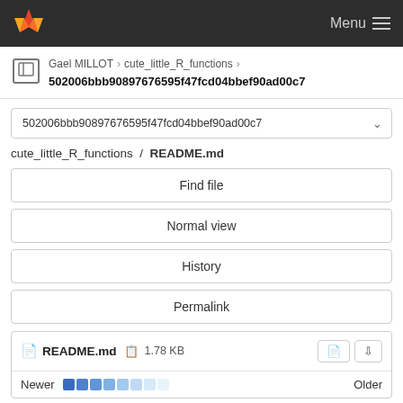GitLab — Menu
Gael MILLOT › cute_little_R_functions › 502006bbb90897676595f47fcd04bbef90ad00c7
502006bbb90897676595f47fcd04bbef90ad00c7
cute_little_R_functions / README.md
Find file
Normal view
History
Permalink
README.md  1.78 KB
Newer  Older